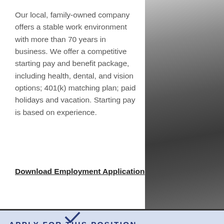Our local, family-owned company offers a stable work environment with more than 70 years in business. We offer a competitive starting pay and benefit package, including health, dental, and vision options; 401(k) matching plan; paid holidays and vacation. Starting pay is based on experience.
Download Employment Application
[Figure (illustration): Checkmark icon in dark navy blue outline style on light blue background]
APPLY FOR THIS POSITION
Applications available at our Coffeyville location or download here, and maybe